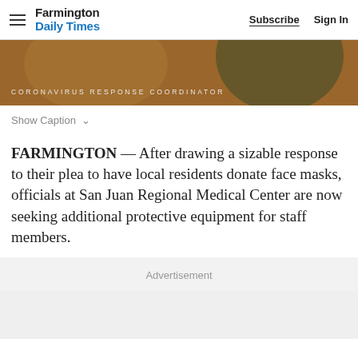Farmington Daily Times  Subscribe  Sign In
[Figure (photo): Partial view of a person outdoors wearing an orange/brown outfit with greenery in background. Text overlay reads: CORONAVIRUS RESPONSE COORDINATOR]
Show Caption
FARMINGTON — After drawing a sizable response to their plea to have local residents donate face masks, officials at San Juan Regional Medical Center are now seeking additional protective equipment for staff members.
Advertisement